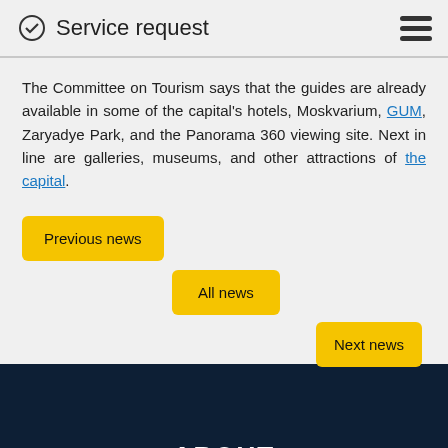Service request
The Committee on Tourism says that the guides are already available in some of the capital's hotels, Moskvarium, GUM, Zaryadye Park, and the Panorama 360 viewing site. Next in line are galleries, museums, and other attractions of the capital.
Previous news
All news
Next news
ABOUT